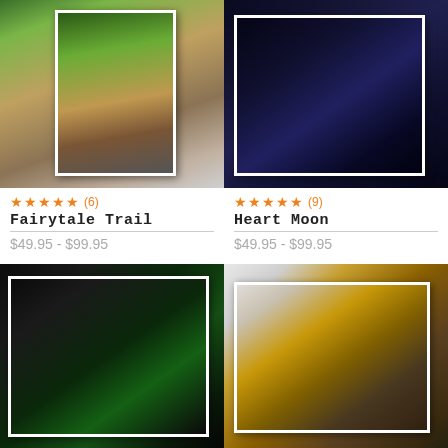[Figure (photo): Canvas print product photo - Fairytale Trail: family in enchanted forest with castle background]
[Figure (photo): Canvas print product photo - Heart Moon: family standing in front of large heart-shaped moon at night]
★★★★★ (6)
★★★★★ (9)
Fairytale Trail
Heart Moon
$49.95 - $99.95
$49.95 - $99.95
[Figure (photo): Canvas print product photo - Football: player kneeling on stadium field with bright stadium lights]
[Figure (photo): Canvas print product photo - Baseball: young player at pitcher's mound in stadium at golden hour]